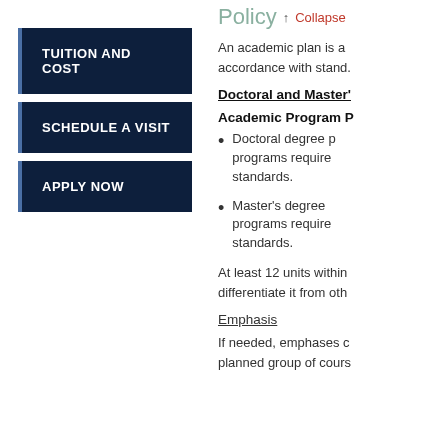TUITION AND COST
SCHEDULE A VISIT
APPLY NOW
Policy ↑ Collapse
An academic plan is a accordance with stand.
Doctoral and Master's
Academic Program P
Doctoral degree programs require standards.
Master's degree programs require standards.
At least 12 units within differentiate it from oth
Emphasis
If needed, emphases c planned group of cours